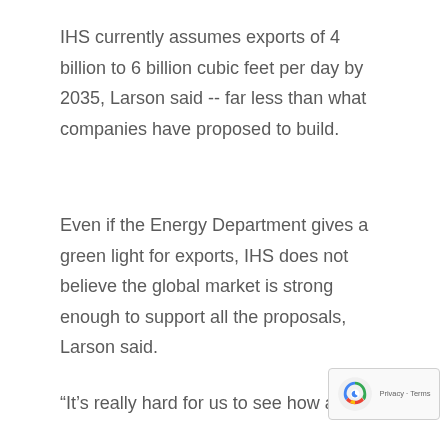IHS currently assumes exports of 4 billion to 6 billion cubic feet per day by 2035, Larson said -- far less than what companies have proposed to build.
Even if the Energy Department gives a green light for exports, IHS does not believe the global market is strong enough to support all the proposals, Larson said.
“It’s really hard for us to see how all these (terminals), even if they were